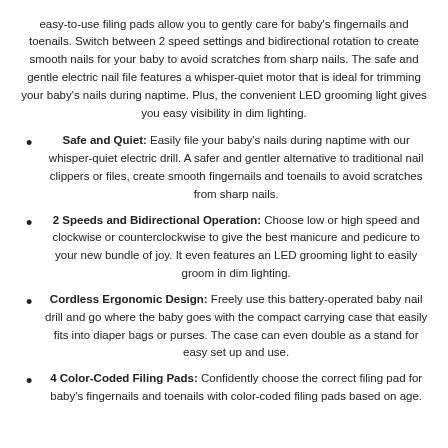easy-to-use filing pads allow you to gently care for baby's fingernails and toenails. Switch between 2 speed settings and bidirectional rotation to create smooth nails for your baby to avoid scratches from sharp nails. The safe and gentle electric nail file features a whisper-quiet motor that is ideal for trimming your baby's nails during naptime. Plus, the convenient LED grooming light gives you easy visibility in dim lighting.
Safe and Quiet: Easily file your baby's nails during naptime with our whisper-quiet electric drill. A safer and gentler alternative to traditional nail clippers or files, create smooth fingernails and toenails to avoid scratches from sharp nails.
2 Speeds and Bidirectional Operation: Choose low or high speed and clockwise or counterclockwise to give the best manicure and pedicure to your new bundle of joy. It even features an LED grooming light to easily groom in dim lighting.
Cordless Ergonomic Design: Freely use this battery-operated baby nail drill and go where the baby goes with the compact carrying case that easily fits into diaper bags or purses. The case can even double as a stand for easy set up and use.
4 Color-Coded Filing Pads: Confidently choose the correct filing pad for baby's fingernails and toenails with color-coded filing pads based on age.